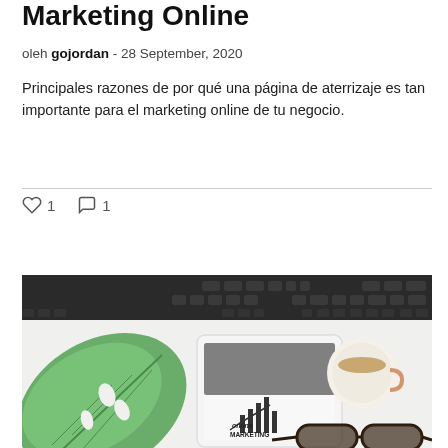Marketing Online
oleh gojordan - 28 September, 2020
Principales razones de por qué una página de aterrizaje es tan importante para el marketing online de tu negocio.
[Figure (photo): Flat lay photo of a tablet showing 'Online Marketing' with a chart sketch, a tropical leaf, a cup of coffee, eyeglasses, and a keyboard on a white desk surface.]